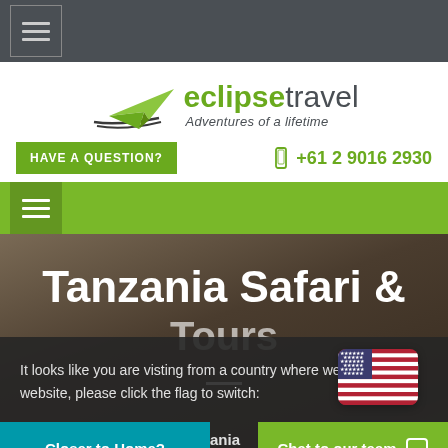Navigation menu (hamburger icon) on dark grey background
[Figure (logo): Eclipse Travel logo with green paper airplane icon, text 'eclipsetravel' in green and dark, tagline 'Adventures of a lifetime' in italic]
HAVE A QUESTION?   +61 2 9016 2930
Green navigation bar with hamburger menu icon
Tanzania Safari & Tours
It looks like you are visting from a country where we have a local website, please click the flag to switch:
[Figure (illustration): US flag emoji/icon with rounded corners]
Closer to Home?   ania Sa...   Chat to our team